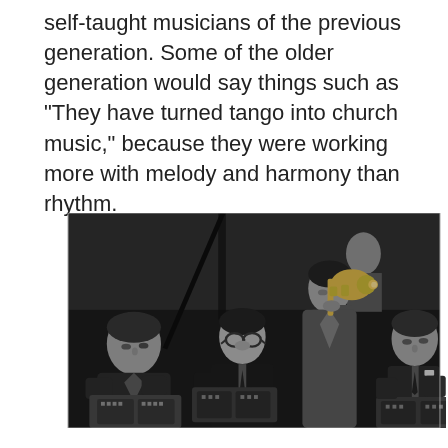self-taught musicians of the previous generation. Some of the older generation would say things such as "They have turned tango into church music," because they were working more with melody and harmony than rhythm.
[Figure (photo): Black and white historical photograph of four male tango musicians performing together. On the left, a man plays a bandoneon (accordion-like instrument). In the center-left, a man with glasses also plays bandoneon. Behind them, a man in background. Center-right, a man in a suit plays trumpet. On the far right, another man holds a bandoneon. The setting appears to be an indoor venue, circa mid-20th century.]